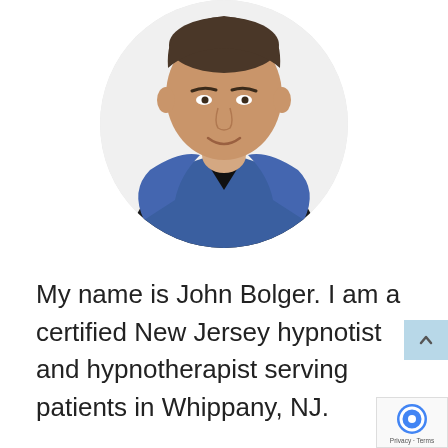[Figure (photo): Circular cropped headshot photo of a man (John Bolger) wearing a blue v-neck shirt and black undershirt, smiling, on a white background.]
My name is John Bolger. I am a certified New Jersey hypnotist and hypnotherapist serving patients in Whippany, NJ.
Using my hypnotherapy